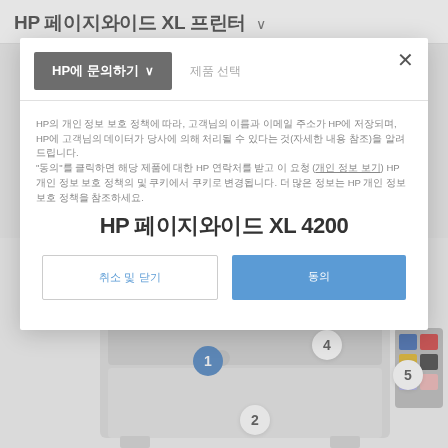HP 페이지와이드 XL 프린터 ∨
HP에 문의하기 ∨
제품 선택
HP의 개인 정보 보호 정책에 따라, 고객님의 이름과 이메일 주소가 HP에 저장되며, HP에 고객님의 데이터가 당사에 의해 처리될 수 있다는 것(자세한 내용 참조)을 알려드립니다. "동의"를 클릭하면 해당 제품에 대한 HP 연락처를 받고 이 요청 (개인 정보 보기) HP 개인 정보 보호 정책의 및 쿠키에서 쿠키로 변경됩니다. 더 많은 정보는 HP 개인 정보 보호 정책을 참조하세요.
HP 페이지와이드 XL 4200
취소 및 닫기
동의
[Figure (photo): HP PageWide XL large format printer shown from the front, with numbered callout circles: 1 (blue) on left side, 2 (white) lower center, 3 (white) upper right near display screen, 4 (white) center top, 5 (white) right side ink station]